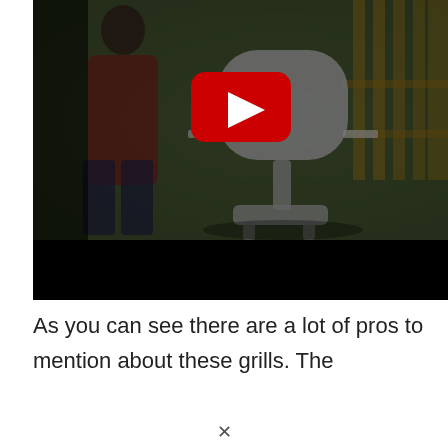[Figure (screenshot): YouTube video thumbnail showing a man in a red plaid shirt standing next to a gray outdoor grill in a backyard setting with a wooden fence and trees in the background. A red YouTube play button is overlaid in the center. The bottom portion of the video player is a black bar.]
As you can see there are a lot of pros to mention about these grills. The